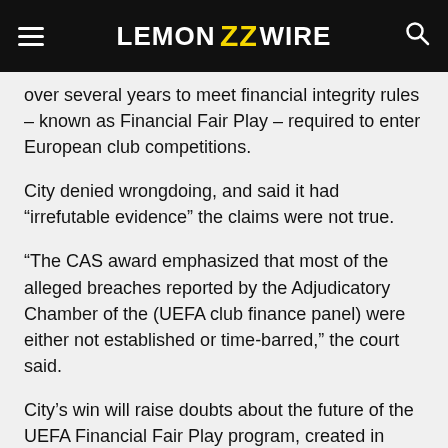LEMON WIRE
over several years to meet financial integrity rules – known as Financial Fair Play – required to enter European club competitions.
City denied wrongdoing, and said it had â€œirrefutable evidenceâ€ the claims were not true.
â€œThe CAS award emphasized that most of the alleged breaches reported by the Adjudicatory Chamber of the (UEFA club finance panel) were either not established or time-barred,â€ the court said.
City's win will raise doubts about the future of the UEFA Financial Fair Play program, created in 2009 after the global financial crisis.